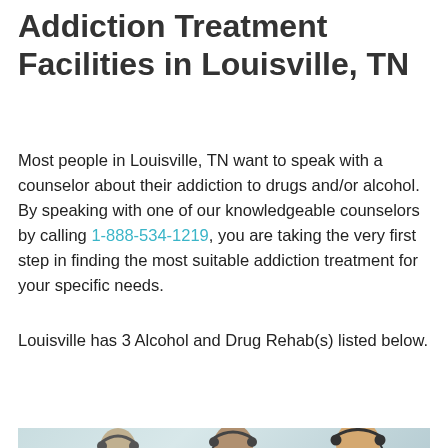Addiction Treatment Facilities in Louisville, TN
Most people in Louisville, TN want to speak with a counselor about their addiction to drugs and/or alcohol. By speaking with one of our knowledgeable counselors by calling 1-888-534-1219, you are taking the very first step in finding the most suitable addiction treatment for your specific needs.
Louisville has 3 Alcohol and Drug Rehab(s) listed below.
[Figure (infographic): Teal banner with a white search/magnifying glass icon on the left and bold white uppercase text reading 'LOOKING FOR A REHAB CENTER?' followed by a photo of call center counselors wearing headsets]